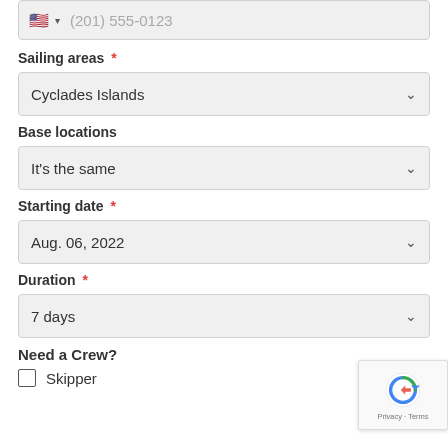Phone
(201) 555-0123
Sailing areas *
Cyclades Islands
Base locations
It's the same
Starting date *
Aug. 06, 2022
Duration *
7 days
Need a Crew?
Skipper